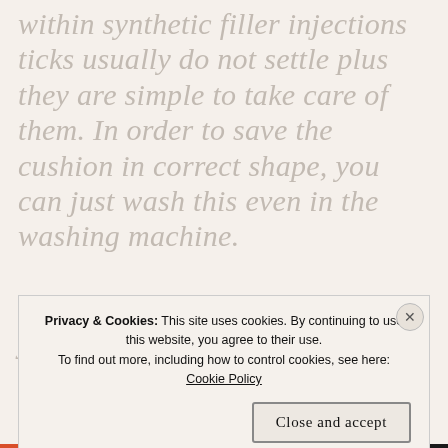within synthetic filler injections ticks usually do not settle plus they are simple to take care of them. In order to save the cushion in correct shape, you can just wash this even in the washing machine.

To start with you buy any pillow, you must understand that the artificial filler
Privacy & Cookies: This site uses cookies. By continuing to use this website, you agree to their use.
To find out more, including how to control cookies, see here: Cookie Policy
Close and accept